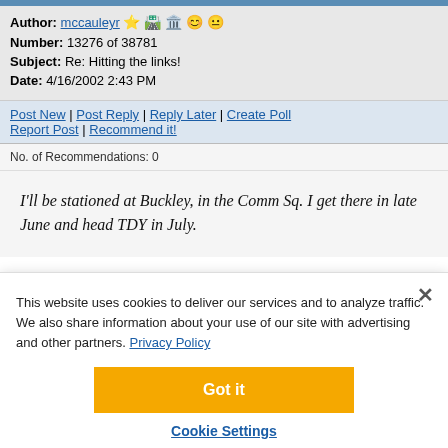Author: mccauleyr [icons]
Number: 13276 of 38781
Subject: Re: Hitting the links!
Date: 4/16/2002 2:43 PM
Post New | Post Reply | Reply Later | Create Poll
Report Post | Recommend it!
No. of Recommendations: 0
I'll be stationed at Buckley, in the Comm Sq. I get there in late June and head TDY in July.
This website uses cookies to deliver our services and to analyze traffic. We also share information about your use of our site with advertising and other partners. Privacy Policy
Got it
Cookie Settings